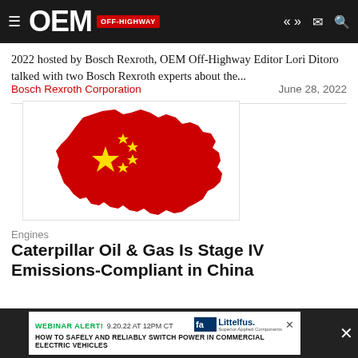OEM OFF-HIGHWAY
2022 hosted by Bosch Rexroth, OEM Off-Highway Editor Lori Ditoro talked with two Bosch Rexroth experts about the...
Bosch Rexroth Corporation   June 28, 2022
[Figure (illustration): Map silhouette of China filled with red color and five yellow stars representing the Chinese flag]
Engines
Caterpillar Oil & Gas Is Stage IV Emissions-Compliant in China
New Chin... applications
WEBINAR ALERT! 9.20.22 AT 12PM CT HOW TO SAFELY AND RELIABLY SWITCH POWER IN COMMERCIAL ELECTRIC VEHICLES